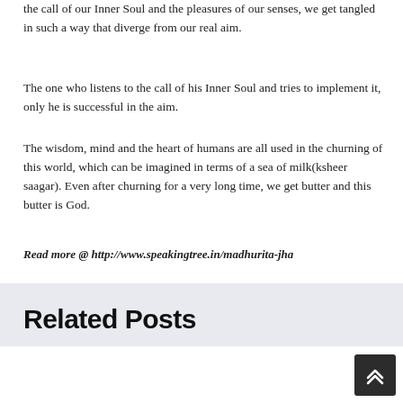the call of our Inner Soul and the pleasures of our senses, we get tangled in such a way that diverge from our real aim.
The one who listens to the call of his Inner Soul and tries to implement it, only he is successful in the aim.
The wisdom, mind and the heart of humans are all used in the churning of this world, which can be imagined in terms of a sea of milk(ksheer saagar). Even after churning for a very long time, we get butter and this butter is God.
Read more @ http://www.speakingtree.in/madhurita-jha
Related Posts